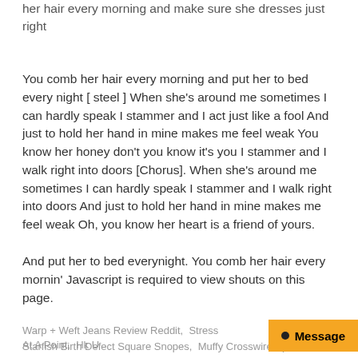her hair every morning and make sure she dresses just right
You comb her hair every morning and put her to bed every night [ steel ] When she's around me sometimes I can hardly speak I stammer and I act just like a fool And just to hold her hand in mine makes me feel weak You know her honey don't you know it's you I stammer and I walk right into doors [Chorus]. When she's around me sometimes I can hardly speak I stammer and I walk right into doors And just to hold her hand in mine makes me feel weak Oh, you know her heart is a friend of yours.
And put her to bed everynight. You comb her hair every mornin' Javascript is required to view shouts on this page.
Warp + Weft Jeans Review Reddit,  Stress At A Point,  Hk U...
Starfish Birth Defect Square Snopes,  Muffy Crosswire Spoiled...